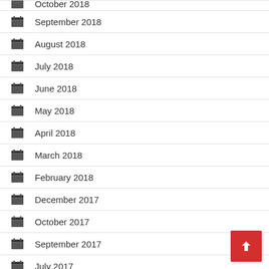October 2018
September 2018
August 2018
July 2018
June 2018
May 2018
April 2018
March 2018
February 2018
December 2017
October 2017
September 2017
July 2017
June 2017